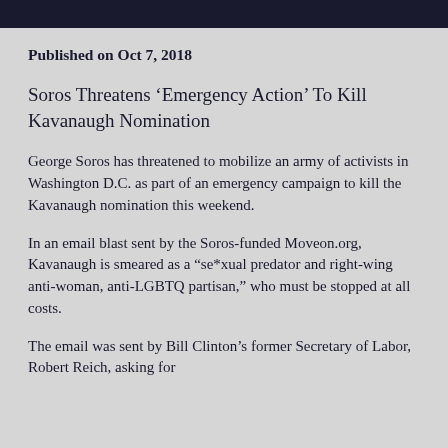Published on Oct 7, 2018
Soros Threatens ‘Emergency Action’ To Kill Kavanaugh Nomination
George Soros has threatened to mobilize an army of activists in Washington D.C. as part of an emergency campaign to kill the Kavanaugh nomination this weekend.
In an email blast sent by the Soros-funded Moveon.org, Kavanaugh is smeared as a “se*xual predator and right-wing anti-woman, anti-LGBTQ partisan,” who must be stopped at all costs.
The email was sent by Bill Clinton’s former Secretary of Labor, Robert Reich, asking for